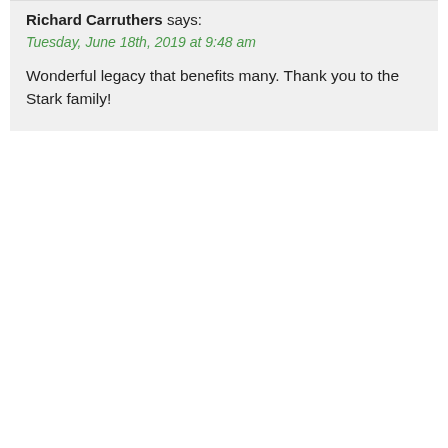Richard Carruthers says:
Tuesday, June 18th, 2019 at 9:48 am
Wonderful legacy that benefits many. Thank you to the Stark family!